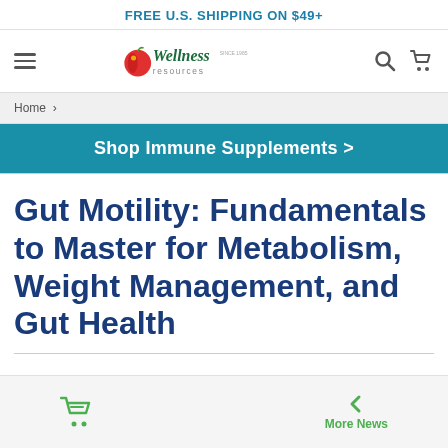FREE U.S. SHIPPING ON $49+
[Figure (logo): Wellness Resources logo with apple icon and script text]
Home
Shop Immune Supplements >
Gut Motility: Fundamentals to Master for Metabolism, Weight Management, and Gut Health